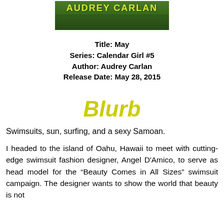[Figure (illustration): Book cover showing 'AUDREY CARLAN' text in yellow-green on a tropical/nature background]
Title: May
Series: Calendar Girl #5
Author: Audrey Carlan
Release Date: May 28, 2015
Blurb
Swimsuits, sun, surfing, and a sexy Samoan.
I headed to the island of Oahu, Hawaii to meet with cutting-edge swimsuit fashion designer, Angel D'Amico, to serve as head model for the “Beauty Comes in All Sizes” swimsuit campaign. The designer wants to show the world that beauty is not